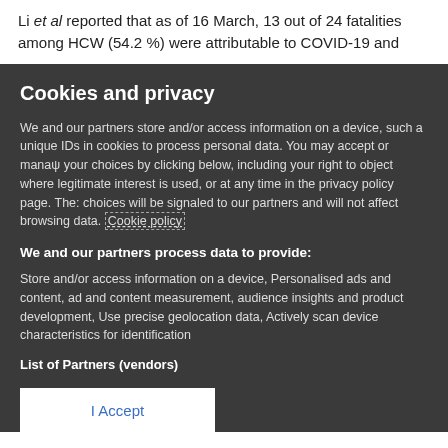Li et al reported that as of 16 March, 13 out of 24 fatalities among HCW (54.2 %) were attributable to COVID-19 and
Cookies and privacy
We and our partners store and/or access information on a device, such as unique IDs in cookies to process personal data. You may accept or manage your choices by clicking below, including your right to object where legitimate interest is used, or at any time in the privacy policy page. These choices will be signaled to our partners and will not affect browsing data. Cookie policy
We and our partners process data to provide:
Store and/or access information on a device, Personalised ads and content, ad and content measurement, audience insights and product development, Use precise geolocation data, Actively scan device characteristics for identification
List of Partners (vendors)
I Accept